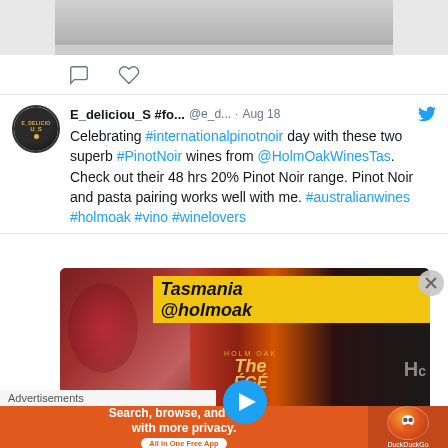[Figure (screenshot): Top portion of a social media image cut off at top of page]
[Figure (illustration): Comment and like/heart icons for social interaction]
E_deliciou_S #fo... @e_d... · Aug 18
Celebrating #internationalpinotnoir day with these two superb #PinotNoir wines from @HolmOakWinesTas. Check out their 48 hrs 20% Pinot Noir range. Pinot Noir and pasta pairing works well with me. #australianwines #holmoak #vino #winelovers
[Figure (photo): Photo of Holm Oak Tasmania wine bottles and a wine glass with yellow banner text reading 'Tasmania @holmoak', blue play button overlay]
Advertisements
[Figure (screenshot): DuckDuckGo advertisement banner: Search, browse, and email with more privacy. All in One Free App]